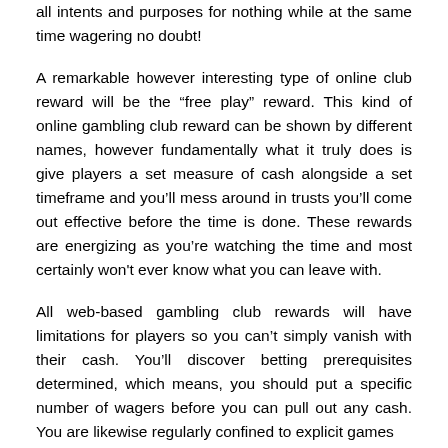all intents and purposes for nothing while at the same time wagering no doubt!
A remarkable however interesting type of online club reward will be the “free play” reward. This kind of online gambling club reward can be shown by different names, however fundamentally what it truly does is give players a set measure of cash alongside a set timeframe and you’ll mess around in trusts you’ll come out effective before the time is done. These rewards are energizing as you’re watching the time and most certainly won't ever know what you can leave with.
All web-based gambling club rewards will have limitations for players so you can’t simply vanish with their cash. You’ll discover betting prerequisites determined, which means, you should put a specific number of wagers before you can pull out any cash. You are likewise regularly confined to explicit games